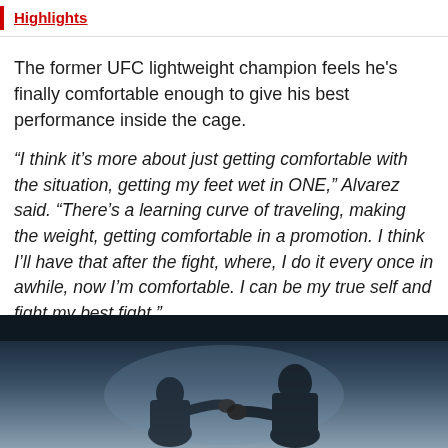Highlights
The former UFC lightweight champion feels he's finally comfortable enough to give his best performance inside the cage.
“I think it’s more about just getting comfortable with the situation, getting my feet wet in ONE,” Alvarez said. “There’s a learning curve of traveling, making the weight, getting comfortable in a promotion. I think I’ll have that after the fight, where, I do it every once in awhile, now I’m comfortable. I can be my true self and fight my best fight.”
[Figure (photo): Two MMA fighters facing each other inside a dark arena cage, one appears to be taller, photographed from below with dramatic lighting]